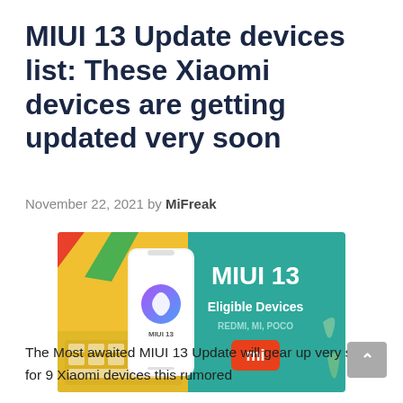MIUI 13 Update devices list: These Xiaomi devices are getting updated very soon
November 22, 2021 by MiFreak
[Figure (illustration): MIUI 13 Eligible Devices promotional banner showing a smartphone with MIUI 13 logo on a teal/green background, with text 'MIUI 13 Eligible Devices REDMI, MI, POCO' and an orange Mi logo button. Background includes colorful notebook/pencil elements.]
The Most awaited MIUI 13 Update will gear up very soon for 9 Xiaomi devices this rumored